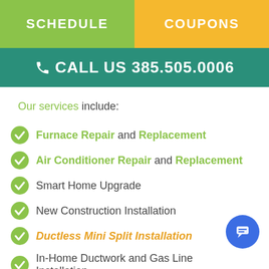SCHEDULE | COUPONS
CALL US 385.505.0006
Our services include:
Furnace Repair and Replacement
Air Conditioner Repair and Replacement
Smart Home Upgrade
New Construction Installation
Ductless Mini Split Installation
In-Home Ductwork and Gas Line Installation